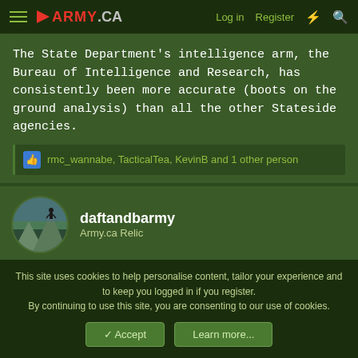ARMY.CA — Log in | Register
The State Department's intelligence arm, the Bureau of Intelligence and Research, has consistently been more accurate (boots on the ground analysis) than all the other Stateside agencies.
rmc_wannabe, TacticalTea, KevinB and 1 other person
daftandbarmy
Army.ca Relic
14 May 2022  #12,772
Now that's a great donation to a good cause 🙂
This site uses cookies to help personalise content, tailor your experience and to keep you logged in if you register.
By continuing to use this site, you are consenting to our use of cookies.
Accept  Learn more...